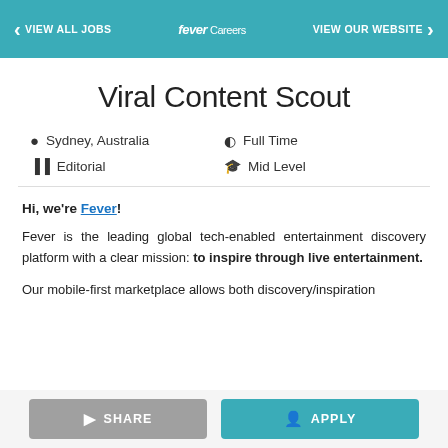< VIEW ALL JOBS   fever Careers   VIEW OUR WEBSITE >
Viral Content Scout
Sydney, Australia  |  Full Time  |  Editorial  |  Mid Level
Hi, we're Fever!

Fever is the leading global tech-enabled entertainment discovery platform with a clear mission: to inspire through live entertainment.

Our mobile-first marketplace allows both discovery/inspiration
SHARE   APPLY